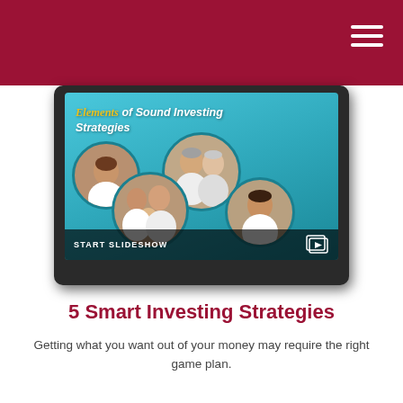[Figure (screenshot): A tablet device displaying a slideshow titled 'Elements of Sound Investing Strategies' with circular photos of diverse people (woman at work, elderly couple, family, young man) on a teal background. A 'START SLIDESHOW' bar appears at the bottom of the screen.]
5 Smart Investing Strategies
Getting what you want out of your money may require the right game plan.